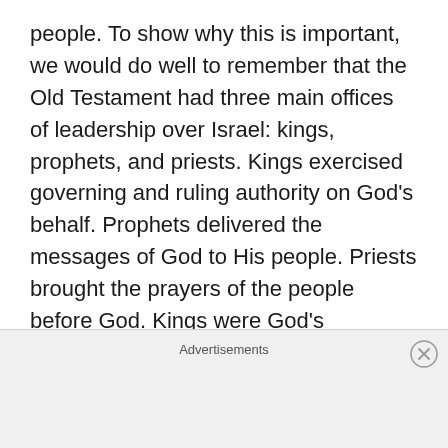people. To show why this is important, we would do well to remember that the Old Testament had three main offices of leadership over Israel: kings, prophets, and priests. Kings exercised governing and ruling authority on God's behalf. Prophets delivered the messages of God to His people. Priests brought the prayers of the people before God. Kings were God's stewards, while prophets spoke for God to the people and priests spoke to God for the people.

The Levites were priests. God set their tribe apart,
Advertisements